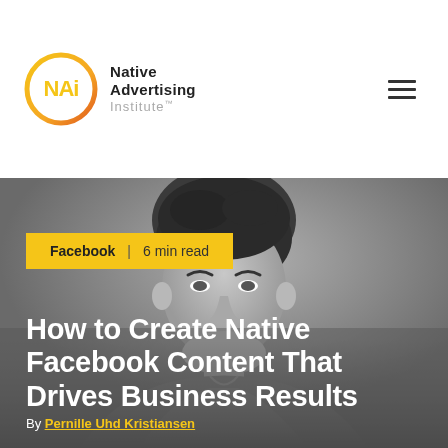[Figure (logo): Native Advertising Institute logo — circular gradient icon with stylized NAi letters in yellow/gold, beside text 'Native Advertising Institute']
[Figure (photo): Grayscale background photo of a man with dark hair, looking slightly downward, wearing a casual shirt]
Facebook  |  6 min read
How to Create Native Facebook Content That Drives Business Results
By Pernille Uhd Kristiansen